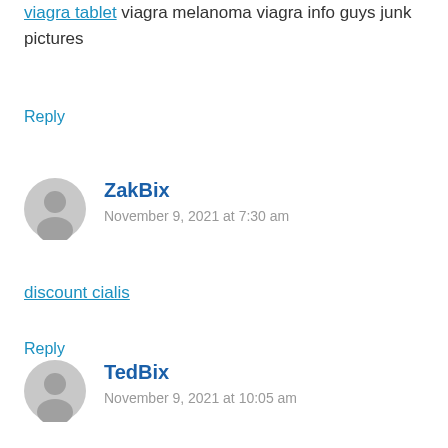viagra tablet viagra melanoma viagra info guys junk pictures
Reply
ZakBix
November 9, 2021 at 7:30 am
discount cialis
Reply
TedBix
November 9, 2021 at 10:05 am